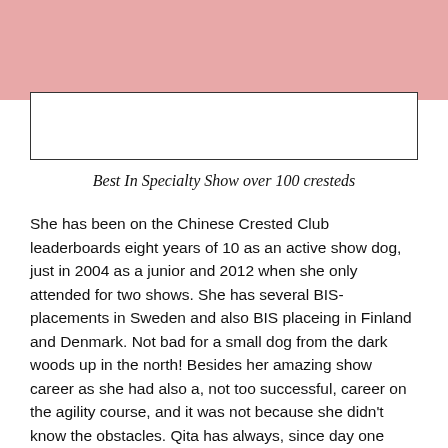[Figure (photo): Image placeholder box with pink header bar above it]
Best In Specialty Show over 100 cresteds
She has been on the Chinese Crested Club leaderboards eight years of 10 as an active show dog, just in 2004 as a junior and 2012 when she only attended for two shows. She has several BIS-placements in Sweden and also BIS placeing in Finland and Denmark. Not bad for a small dog from the dark woods up in the north! Besides her amazing show career as she had also a, not too successful, career on the agility course, and it was not because she didn't know the obstacles. Qita has always, since day one been Birgitta's shadow and eye servant, so she simply ran of the course out to Birgitta after three obsticles into the race. Should be emphasized that this never